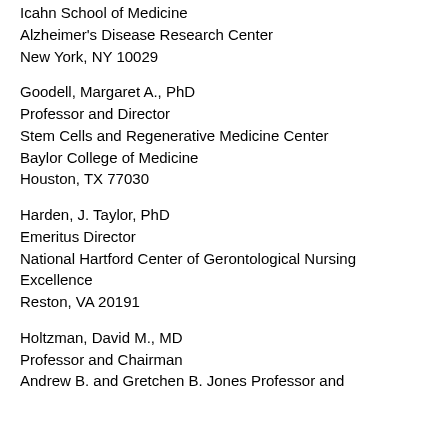Icahn School of Medicine
Alzheimer's Disease Research Center
New York, NY 10029
Goodell, Margaret A., PhD
Professor and Director
Stem Cells and Regenerative Medicine Center
Baylor College of Medicine
Houston, TX 77030
Harden, J. Taylor, PhD
Emeritus Director
National Hartford Center of Gerontological Nursing Excellence
Reston, VA 20191
Holtzman, David M., MD
Professor and Chairman
Andrew B. and Gretchen B. Jones Professor and